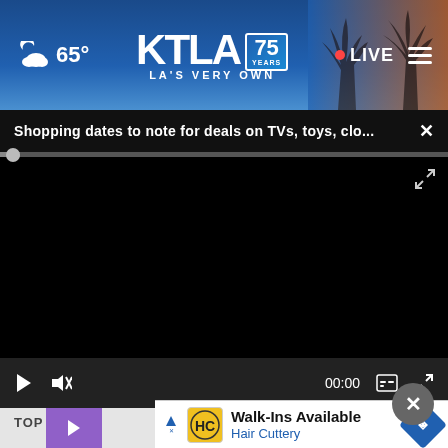[Figure (screenshot): KTLA 75 Years - LA's Very Own news website header with weather showing cloud icon and 65°, KTLA logo with 75 years badge, red dot LIVE indicator, and hamburger menu icon. Palm tree silhouette visible on right side.]
Shopping dates to note for deals on TVs, toys, clo...
[Figure (screenshot): Video player area showing a black/dark screen (no video loaded), with a progress bar at the top and playback controls at the bottom including play button, mute icon, 00:00 timestamp, caption button, and fullscreen expand button.]
TOP S
[Figure (screenshot): Advertisement banner for Hair Cuttery showing AdChoices icon, HC logo in yellow square, text 'Walk-Ins Available' and 'Hair Cuttery' in blue, and a blue diamond-shaped arrow icon on the right.]
[Figure (screenshot): Purple thumbnail image strip at bottom left with white play button triangle, and a close/X button in dark gray circle above the ad bar.]